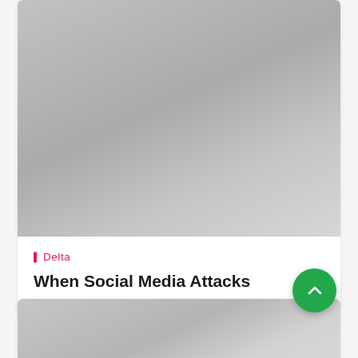[Figure (photo): Gray gradient image placeholder for the top card]
Delta
When Social Media Attacks
[Figure (photo): Gray gradient image placeholder for the bottom card]